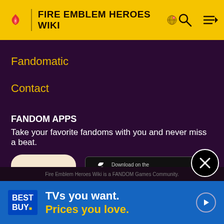FIRE EMBLEM HEROES WIKI
Fandomatic
Contact
FANDOM APPS
Take your favorite fandoms with you and never miss a beat.
[Figure (logo): Fandom app icon: red/pink flame shape with yellow heart on light beige background]
[Figure (screenshot): Download on the App Store button (black, rounded rectangle)]
[Figure (screenshot): GET IT ON Google Play button (black, rounded rectangle)]
Fire Emblem Heroes Wiki is a FANDOM Games Community.
[Figure (infographic): Best Buy advertisement banner: TVs you want. Prices you love.]